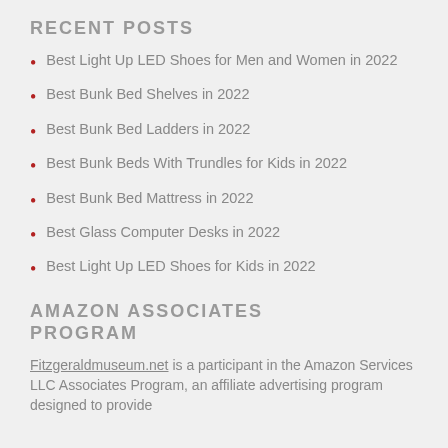RECENT POSTS
Best Light Up LED Shoes for Men and Women in 2022
Best Bunk Bed Shelves in 2022
Best Bunk Bed Ladders in 2022
Best Bunk Beds With Trundles for Kids in 2022
Best Bunk Bed Mattress in 2022
Best Glass Computer Desks in 2022
Best Light Up LED Shoes for Kids in 2022
AMAZON ASSOCIATES PROGRAM
Fitzgeraldmuseum.net is a participant in the Amazon Services LLC Associates Program, an affiliate advertising program designed to provide